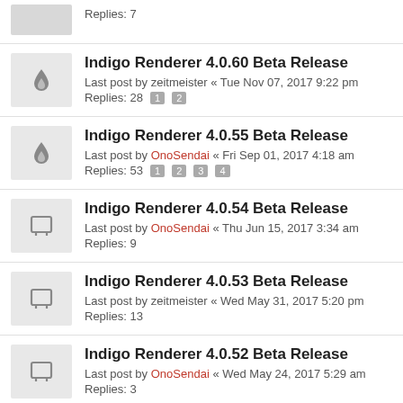Replies: 7
Indigo Renderer 4.0.60 Beta Release
Last post by zeitmeister « Tue Nov 07, 2017 9:22 pm
Replies: 28 [1] [2]
Indigo Renderer 4.0.55 Beta Release
Last post by OnoSendai « Fri Sep 01, 2017 4:18 am
Replies: 53 [1] [2] [3] [4]
Indigo Renderer 4.0.54 Beta Release
Last post by OnoSendai « Thu Jun 15, 2017 3:34 am
Replies: 9
Indigo Renderer 4.0.53 Beta Release
Last post by zeitmeister « Wed May 31, 2017 5:20 pm
Replies: 13
Indigo Renderer 4.0.52 Beta Release
Last post by OnoSendai « Wed May 24, 2017 5:29 am
Replies: 3
Indigo Renderer 4.0.50 Beta Release